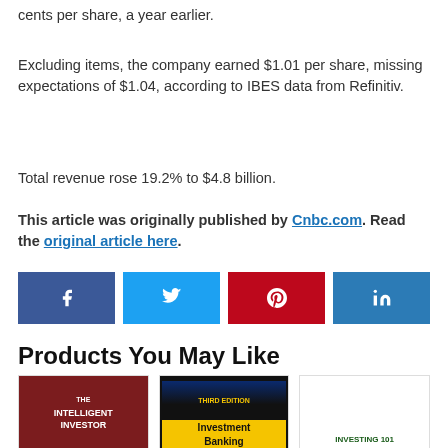cents per share, a year earlier.
Excluding items, the company earned $1.01 per share, missing expectations of $1.04, according to IBES data from Refinitiv.
Total revenue rose 19.2% to $4.8 billion.
This article was originally published by Cnbc.com. Read the original article here.
[Figure (infographic): Social media sharing buttons: Facebook (f), Twitter (bird icon), Pinterest (p), LinkedIn (in)]
Products You May Like
[Figure (photo): Three book covers: The Intelligent Investor, Investment Banking (Third Edition), Investing 101]